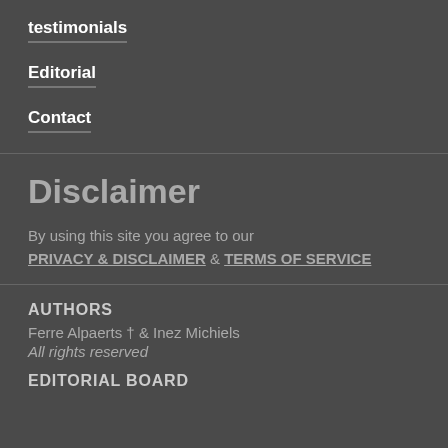testimonials
Editorial
Contact
Disclaimer
By using this site you agree to our PRIVACY & DISCLAIMER & TERMS OF SERVICE
AUTHORS
Ferre Alpaerts † & Inez Michiels
All rights reserved
EDITORIAL BOARD